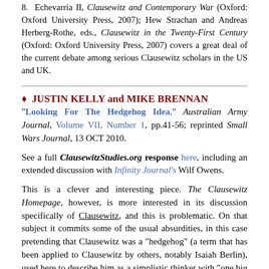8. Echevarria II, Clausewitz and Contemporary War (Oxford: Oxford University Press, 2007); Hew Strachan and Andreas Herberg-Rothe, eds., Clausewitz in the Twenty-First Century (Oxford: Oxford University Press, 2007) covers a great deal of the current debate among serious Clausewitz scholars in the US and UK.
♦ JUSTIN KELLY and MIKE BRENNAN
"Looking For The Hedgehog Idea." Australian Army Journal, Volume VII, Number 1, pp.41-56; reprinted Small Wars Journal, 13 OCT 2010.
See a full ClausewitzStudies.org response here, including an extended discussion with Infinity Journal's Wilf Owens.
This is a clever and interesting piece. The Clausewitz Homepage, however, is more interested in its discussion specifically of Clausewitz, and this is problematic. On that subject it commits some of the usual absurdities, in this case pretending that Clausewitz was a "hedgehog" (a term that has been applied to Clausewitz by others, notably Isaiah Berlin), used here to describe him as a simplistic thinker with "one big idea"—i.e., that the sole objective of war was the destruction of the enemy's forces. We